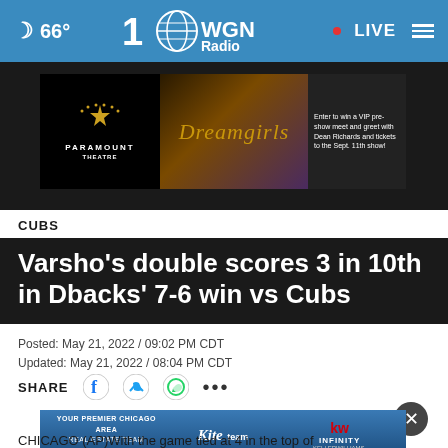🌙 66° | WGN Radio 100 | • LIVE
[Figure (photo): Advertisement banner for Paramount Theatre Dreamgirls show with Dean Richards VIP meet and greet promo]
CUBS
Varsho's double scores 3 in 10th in Dbacks' 7-6 win vs Cubs
Posted: May 21, 2022 / 09:02 PM CDT
Updated: May 21, 2022 / 08:04 PM CDT
SHARE
[Figure (photo): Kite Team KW Infinity Keller Williams advertisement - Your Premier Chicago Area Real Estate Team, AmyKite.com]
CHICAGO (AP)With the game tied at 4 in the top of